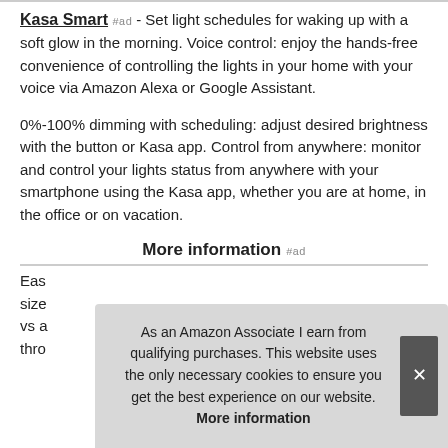Kasa Smart #ad - Set light schedules for waking up with a soft glow in the morning. Voice control: enjoy the hands-free convenience of controlling the lights in your home with your voice via Amazon Alexa or Google Assistant.
0%-100% dimming with scheduling: adjust desired brightness with the button or Kasa app. Control from anywhere: monitor and control your lights status from anywhere with your smartphone using the Kasa app, whether you are at home, in the office or on vacation.
More information #ad
Eas... size... vs a... thro...
As an Amazon Associate I earn from qualifying purchases. This website uses the only necessary cookies to ensure you get the best experience on our website. More information